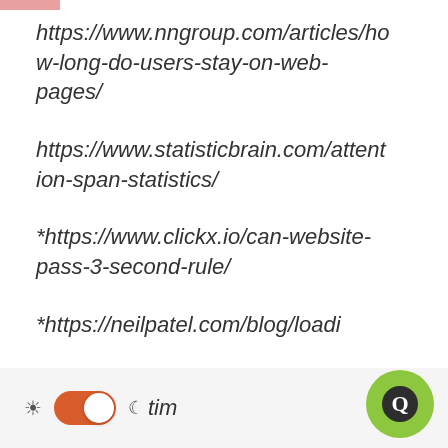https://www.nngroup.com/articles/how-long-do-users-stay-on-web-pages/
https://www.statisticbrain.com/attention-span-statistics/
*https://www.clickx.io/can-website-pass-3-second-rule/
*https://neilpatel.com/blog/loading-time/